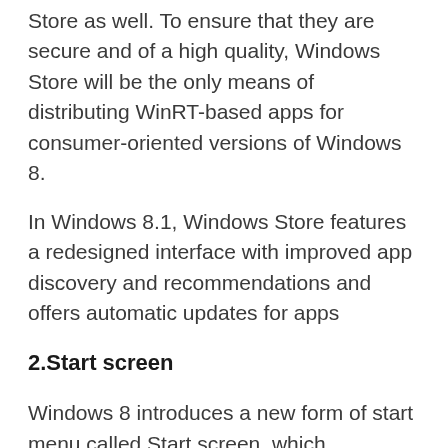Store as well. To ensure that they are secure and of a high quality, Windows Store will be the only means of distributing WinRT-based apps for consumer-oriented versions of Windows 8.
In Windows 8.1, Windows Store features a redesigned interface with improved app discovery and recommendations and offers automatic updates for apps
2.Start screen
Windows 8 introduces a new form of start menu called Start screen, which resembles the home screen of Windows Phone, and is shown in place of the desktop on startup. The Start screen serves as the primary method of launching